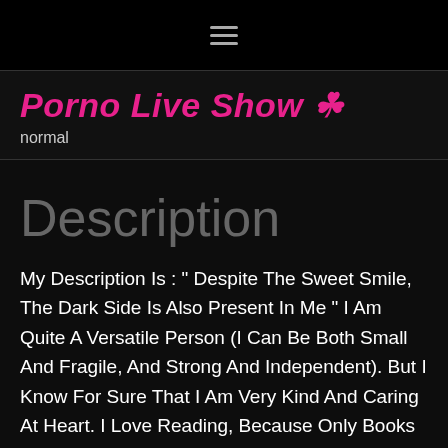≡
Porno Live Show ☘
normal
Description
My Description Is : " Despite The Sweet Smile, The Dark Side Is Also Present In Me " I Am Quite A Versatile Person (I Can Be Both Small And Fragile, And Strong And Independent). But I Know For Sure That I Am Very Kind And Caring At Heart. I Love Reading, Because Only Books Can Help To Distract From This Insanely